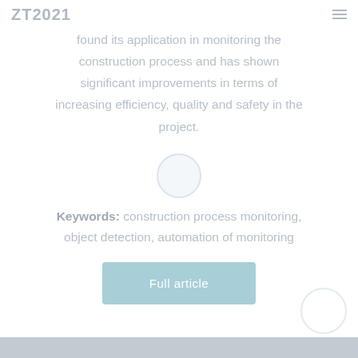ZT2021
found its application in monitoring the construction process and has shown significant improvements in terms of increasing efficiency, quality and safety in the project.
Keywords: construction process monitoring, object detection, automation of monitoring
Full article